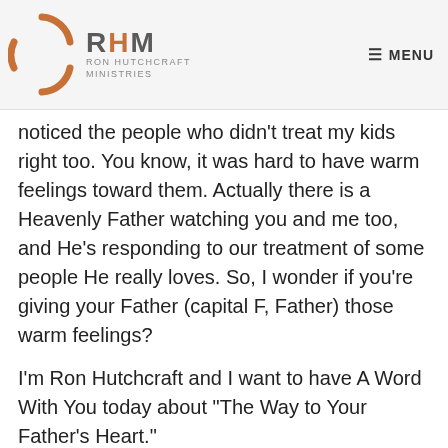RHM RON HUTCHCRAFT MINISTRIES   ≡ MENU
noticed the people who didn't treat my kids right too. You know, it was hard to have warm feelings toward them. Actually there is a Heavenly Father watching you and me too, and He's responding to our treatment of some people He really loves. So, I wonder if you're giving your Father (capital F, Father) those warm feelings?
I'm Ron Hutchcraft and I want to have A Word With You today about "The Way to Your Father's Heart."
Proverbs 19:17 is where we will find our word